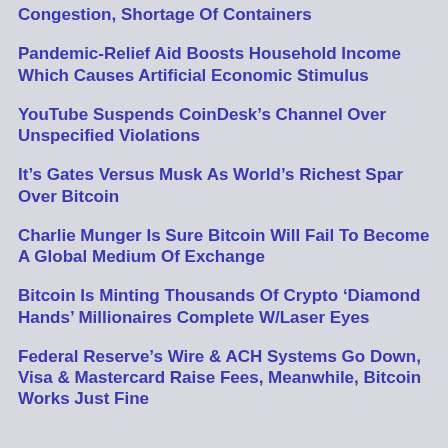Congestion, Shortage Of Containers
Pandemic-Relief Aid Boosts Household Income Which Causes Artificial Economic Stimulus
YouTube Suspends CoinDesk’s Channel Over Unspecified Violations
It’s Gates Versus Musk As World’s Richest Spar Over Bitcoin
Charlie Munger Is Sure Bitcoin Will Fail To Become A Global Medium Of Exchange
Bitcoin Is Minting Thousands Of Crypto ‘Diamond Hands’ Millionaires Complete W/Laser Eyes
Federal Reserve’s Wire & ACH Systems Go Down, Visa & Mastercard Raise Fees, Meanwhile, Bitcoin Works Just Fine